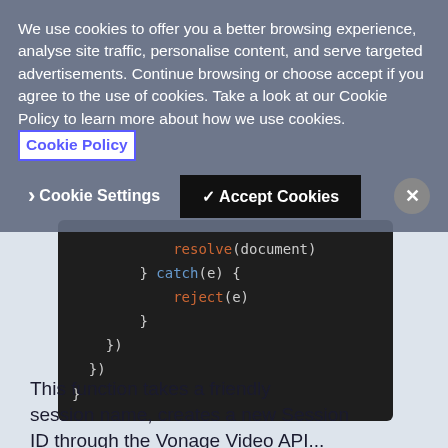We use cookies to offer you a better browsing experience, analyse site traffic, personalise content, and serve targeted advertisements. Continue browsing or choose accept if you agree to the use of cookies. Take a look at our Cookie Policy to learn more about how we use cookies. Cookie Policy
› Cookie Settings   ✓ Accept Cookies   ✕
[Figure (screenshot): Code block on dark background showing JavaScript promise code: resolve(document), } catch(e) {, reject(e), }, }), }), }]
This function takes a friendly session name, creates a new Session ID through the Vonage Video API...